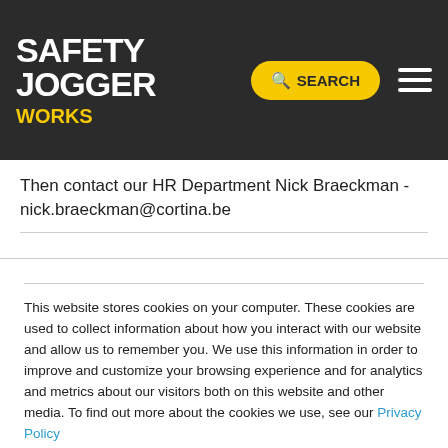SAFETY JOGGER WORKS — SEARCH [navigation bar]
Then contact our HR Department Nick Braeckman - nick.braeckman@cortina.be
This website stores cookies on your computer. These cookies are used to collect information about how you interact with our website and allow us to remember you. We use this information in order to improve and customize your browsing experience and for analytics and metrics about our visitors both on this website and other media. To find out more about the cookies we use, see our Privacy Policy
If you decline, your information won't be tracked when you visit this website. A single cookie will be used in your browser to remember your preference not to be tracked.